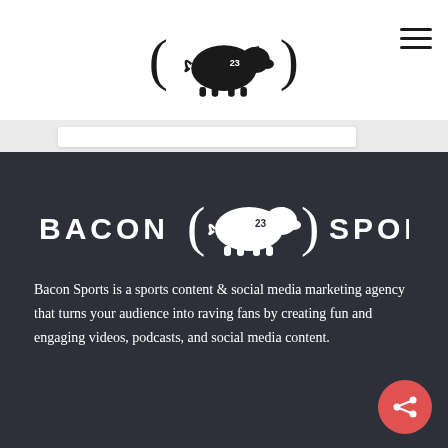[Figure (logo): Bacon Sports logo (black pig silhouette with '23' on back, flanked by parentheses) in header]
[Figure (logo): Bacon Sports full logo (white pig silhouette with '23', flanked by parentheses, with BACON and SPORTS text) on dark background]
Bacon Sports is a sports content & social media marketing agency that turns your audience into raving fans by creating fun and engaging videos, podcasts, and social media content.